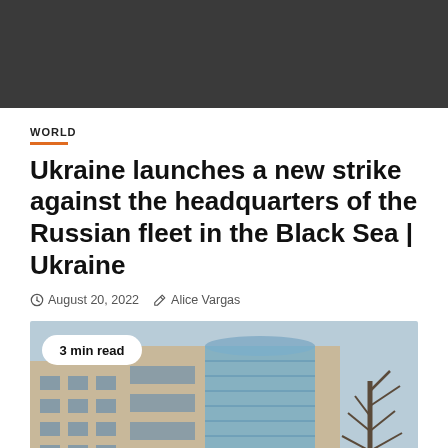[Figure (photo): Dark gray top banner bar]
WORLD
Ukraine launches a new strike against the headquarters of the Russian fleet in the Black Sea | Ukraine
August 20, 2022   Alice Vargas
[Figure (photo): Photo of a modern government or military headquarters building with glass facade and cylindrical tower, with a bare tree on the right side. Badge reads '3 min read'.]